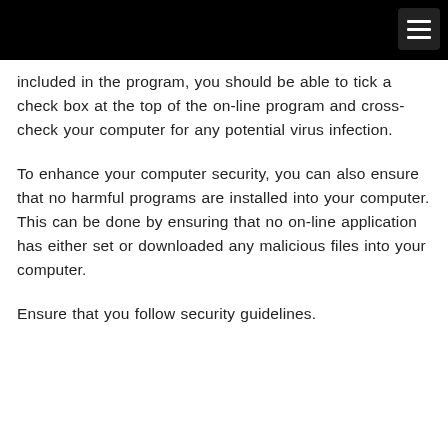included in the program, you should be able to tick a check box at the top of the on-line program and cross-check your computer for any potential virus infection.
To enhance your computer security, you can also ensure that no harmful programs are installed into your computer. This can be done by ensuring that no on-line application has either set or downloaded any malicious files into your computer.
Ensure that you follow security guidelines.